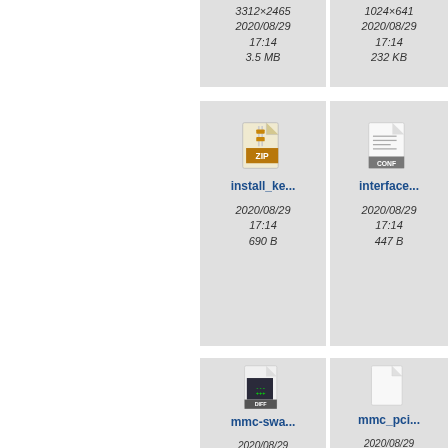[Figure (screenshot): File browser grid view showing file icons with names, dates, and sizes. Top row partially visible showing two files with dates 2020/08/29 17:14, sizes 3.5 MB and 232 KB. Middle row shows install_ke... (ZIP file, 2020/08/29 17:14, 690 B) and interface... (CONF file, 2020/08/29 17:14, 447 B) and partial third file. Bottom row shows mmc-swa... (DIFF file), mmc_pci... (blank file), and partial third file, all dated 2020/08/29.]